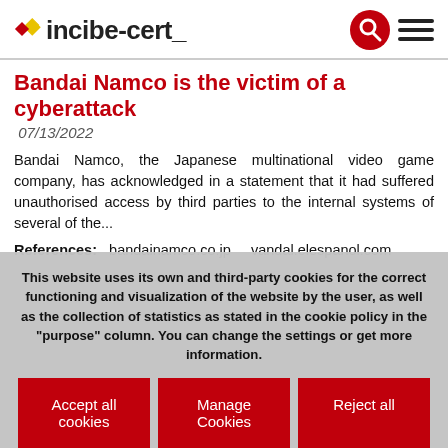incibe-cert_
Bandai Namco is the victim of a cyberattack
07/13/2022
Bandai Namco, the Japanese multinational video game company, has acknowledged in a statement that it had suffered unauthorised access by third parties to the internal systems of several of the...
References:  bandainamco.co.jp    vandal.elespanol.com
This website uses its own and third-party cookies for the correct functioning and visualization of the website by the user, as well as the collection of statistics as stated in the cookie policy in the "purpose" column. You can change the settings or get more information.
Accept all cookies
Manage Cookies
Reject all